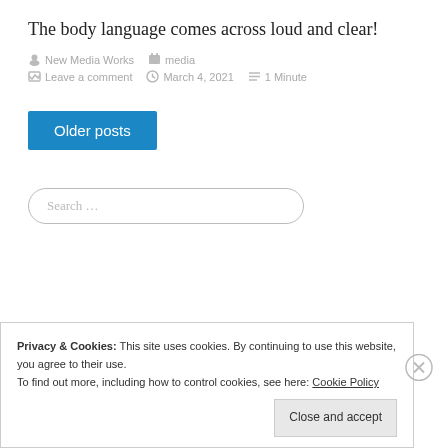The body language comes across loud and clear!
New Media Works   media   Leave a comment   March 4, 2021   1 Minute
Older posts
Search …
Privacy & Cookies: This site uses cookies. By continuing to use this website, you agree to their use. To find out more, including how to control cookies, see here: Cookie Policy